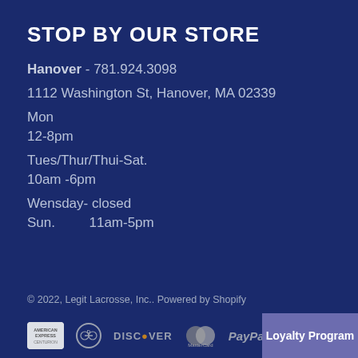STOP BY OUR STORE
Hanover - 781.924.3098
1112 Washington St, Hanover, MA 02339
Mon
12-8pm
Tues/Thur/Thui-Sat.
10am -6pm
Wensday- closed
Sun.          11am-5pm
© 2022, Legit Lacrosse, Inc.. Powered by Shopify
[Figure (other): Payment method icons: American Express, Diners Club, Discover, Mastercard, PayPal, and a Loyalty Program button]